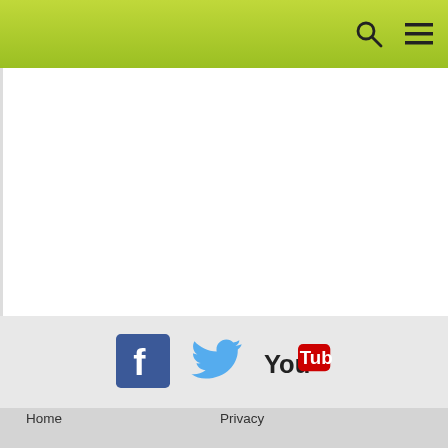Navigation header bar with search and menu icons
[Figure (logo): Facebook logo icon (blue square with white F)]
[Figure (logo): Twitter bird logo icon (blue bird)]
[Figure (logo): YouTube logo icon (You Tube red and black)]
Home
Privacy
Site map
Accessibility
Disclaimer
Copyright
Patients' rights
Contact us
wa.gov.au